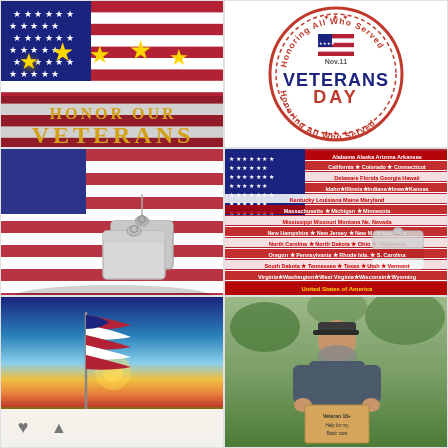[Figure (illustration): Honor Our Veterans graphic with American flag background and golden stars, text reads HONOR OUR VETERANS]
[Figure (illustration): Veterans Day circular stamp/seal reading 'Honoring All Who Served' around the border, Nov. 11, VETERANS DAY in center with mini American flag]
[Figure (photo): American flag draped with military dog tags on top]
[Figure (illustration): American flag made of all US state names text, with dog tags overlay listing all 50 states and United States of America]
[Figure (photo): American flag waving against dramatic sky with sun rays]
[Figure (photo): Older veteran man with beard holding a cardboard sign, possibly homeless veteran]